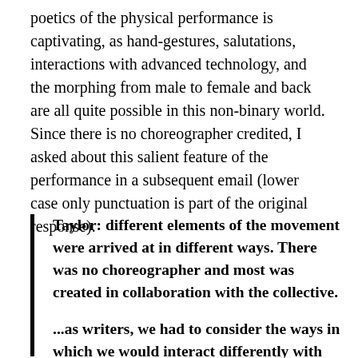poetics of the physical performance is captivating, as hand-gestures, salutations, interactions with advanced technology, and the morphing from male to female and back are all quite possible in this non-binary world. Since there is no choreographer credited, I asked about this salient feature of the performance in a subsequent email (lower case only punctuation is part of the original response).
Taylor: different elements of the movement were arrived at in different ways. There was no choreographer and most was created in collaboration with the collective.
...as writers, we had to consider the ways in which we would interact differently with organic technology, as decolonized bodies in a non-indigenous world; the complications that